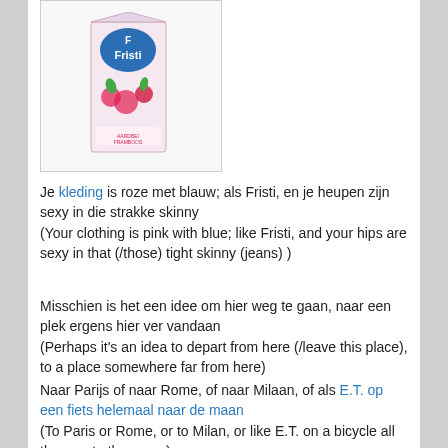[Figure (photo): A Fristi brand juice/milk drink carton with pink and blue design, featuring fruit imagery on the packaging.]
Je kleding is roze met blauw; als Fristi, en je heupen zijn sexy in die strakke skinny
(Your clothing is pink with blue; like Fristi, and your hips are sexy in that (/those) tight skinny (jeans) )
Misschien is het een idee om hier weg te gaan, naar een plek ergens hier ver vandaan
(Perhaps it's an idea to depart from here (/leave this place), to a place somewhere far from here)
Naar Parijs of naar Rome, of naar Milaan, of als E.T. op een fiets helemaal naar de maan
(To Paris or Rome, or to Milan, or like E.T. on a bicycle all the way to the moon)